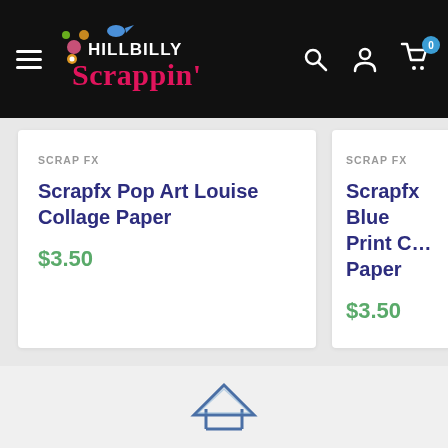Hillbilly Scrappin' — navigation bar with logo, search, account, and cart icons
SCRAP FX
Scrapfx Pop Art Louise Collage Paper
$3.50
SCRAP FX
Scrapfx Blue Print Collage Paper
$3.50